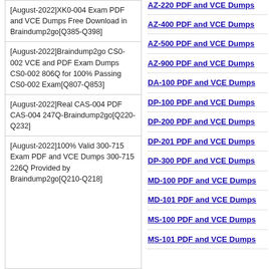[August-2022]XK0-004 Exam PDF and VCE Dumps Free Download in Braindump2go[Q385-Q398]
[August-2022]Braindump2go CS0-002 VCE and PDF Exam Dumps CS0-002 806Q for 100% Passing CS0-002 Exam[Q807-Q853]
[August-2022]Real CAS-004 PDF CAS-004 247Q-Braindump2go[Q220-Q232]
[August-2022]100% Valid 300-715 Exam PDF and VCE Dumps 300-715 226Q Provided by Braindump2go[Q210-Q218]
AZ-220 PDF and VCE Dumps
AZ-400 PDF and VCE Dumps
AZ-500 PDF and VCE Dumps
AZ-900 PDF and VCE Dumps
DA-100 PDF and VCE Dumps
DP-100 PDF and VCE Dumps
DP-200 PDF and VCE Dumps
DP-201 PDF and VCE Dumps
DP-300 PDF and VCE Dumps
MD-100 PDF and VCE Dumps
MD-101 PDF and VCE Dumps
MS-100 PDF and VCE Dumps
MS-101 PDF and VCE Dumps